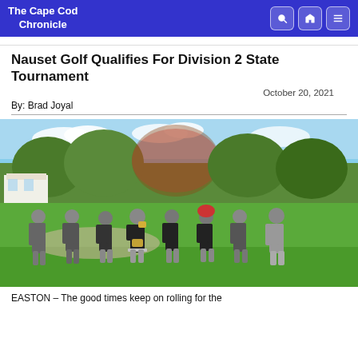The Cape Cod Chronicle
Nauset Golf Qualifies For Division 2 State Tournament
October 20, 2021
By: Brad Joyal
[Figure (photo): Group photo of Nauset golf team and coaches holding a trophy on a golf course, with trees and a building visible in the background on a sunny autumn day.]
EASTON – The good times keep on rolling for the